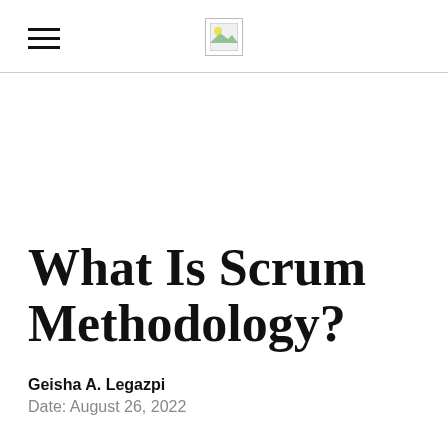[Figure (logo): Hamburger menu icon (three horizontal lines) on the left, and a small image/logo placeholder in the center of the header]
What Is Scrum Methodology?
Geisha A. Legazpi
Date: August 26, 2022